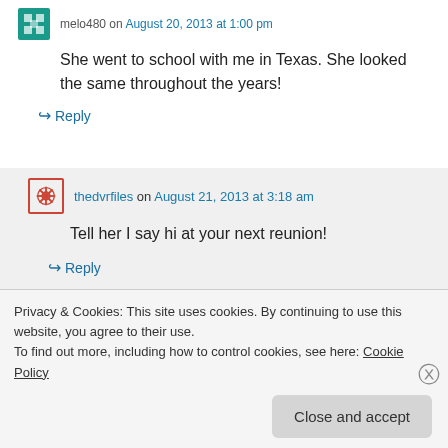She went to school with me in Texas. She looked the same throughout the years!
↪ Reply
thedvrfiles on August 21, 2013 at 3:18 am
Tell her I say hi at your next reunion!
↪ Reply
Privacy & Cookies: This site uses cookies. By continuing to use this website, you agree to their use.
To find out more, including how to control cookies, see here: Cookie Policy
Close and accept